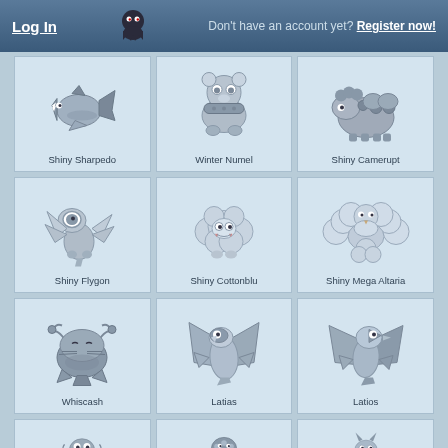Log In | Don't have an account yet? Register now!
[Figure (illustration): Grid of Pokemon illustrations: Shiny Sharpedo, Winter Numel, Shiny Camerupt, Shiny Flygon, Shiny Cottonblu, Shiny Mega Altaria, Whiscash, Latias, Latios, and three partially visible Pokemon at the bottom]
Shiny Sharpedo
Winter Numel
Shiny Camerupt
Shiny Flygon
Shiny Cottonblu
Shiny Mega Altaria
Whiscash
Latias
Latios